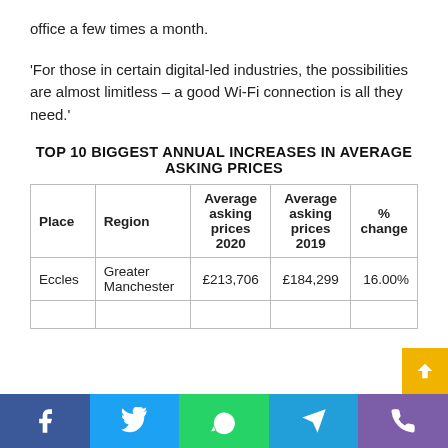office a few times a month.
'For those in certain digital-led industries, the possibilities are almost limitless – a good Wi-Fi connection is all they need.'
TOP 10 BIGGEST ANNUAL INCREASES IN AVERAGE ASKING PRICES
| Place | Region | Average asking prices 2020 | Average asking prices 2019 | % change |
| --- | --- | --- | --- | --- |
| Eccles | Greater Manchester | £213,706 | £184,299 | 16.00% |